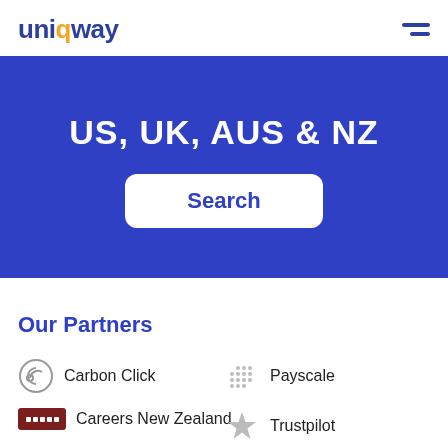uniqway
US, UK, AUS & NZ
Search
Our Partners
Carbon Click
Payscale
Careers New Zealand
Trustpilot